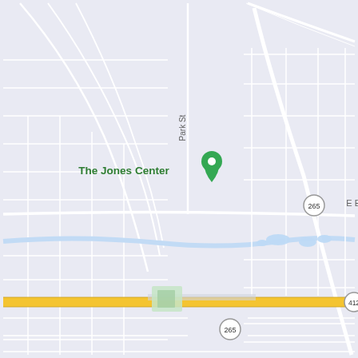[Figure (map): Google Maps screenshot showing Springdale, Arkansas area. Features include: The Jones Center with a green location pin marker, UPS Customer Center label in upper right, E Mountain Rd label at top, E Emma Ave label in the middle, Park St label on left side, Springdale Municipal Airport with a blue airplane pin marker, route markers for 265 (two locations), 412 (along a prominent east-west yellow road), and 1083, a partial label 'Plus' on the left edge, partial 'W' and 'Neight' on the right edge, partial 'S Po' at bottom left. The map shows a street grid with light blue water features/ponds, green park areas, gray road network on a light blue-gray background, with a prominent yellow highway (412) running east-west near the bottom.]